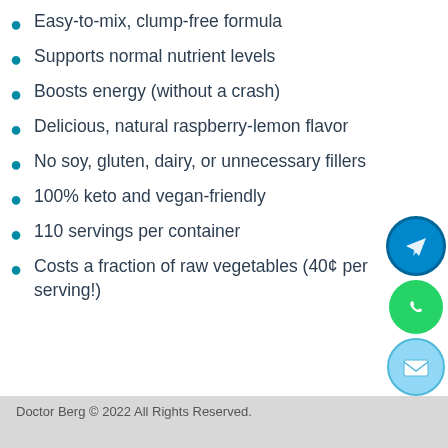Easy-to-mix, clump-free formula
Supports normal nutrient levels
Boosts energy (without a crash)
Delicious, natural raspberry-lemon flavor
No soy, gluten, dairy, or unnecessary fillers
100% keto and vegan-friendly
110 servings per container
Costs a fraction of raw vegetables (40¢ per serving!)
Doctor Berg © 2022 All Rights Reserved.